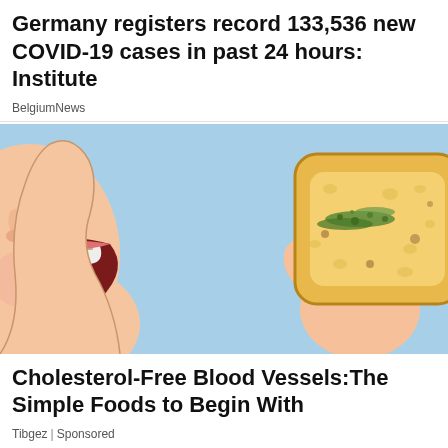Germany registers record 133,536 new COVID-19 cases in past 24 hours: Institute
BelgiumNews
[Figure (illustration): Illustration of a person with open mouth about to eat a moldy piece of toast held in hand, on light blue background]
Cholesterol-Free Blood Vessels: The Simple Foods to Begin With
Tibgez | Sponsored